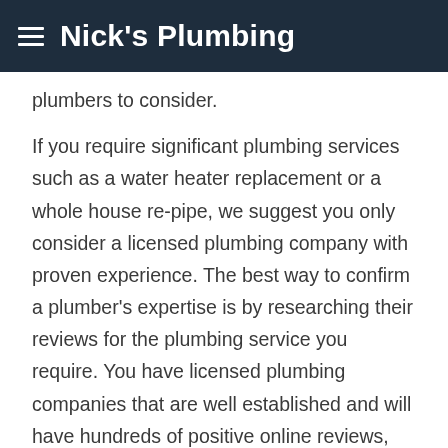Nick's Plumbing
plumbers to consider.
If you require significant plumbing services such as a water heater replacement or a whole house re-pipe, we suggest you only consider a licensed plumbing company with proven experience. The best way to confirm a plumber's expertise is by researching their reviews for the plumbing service you require. You have licensed plumbing companies that are well established and will have hundreds of positive online reviews, like Nick's Plumbing and Air Conditioning.